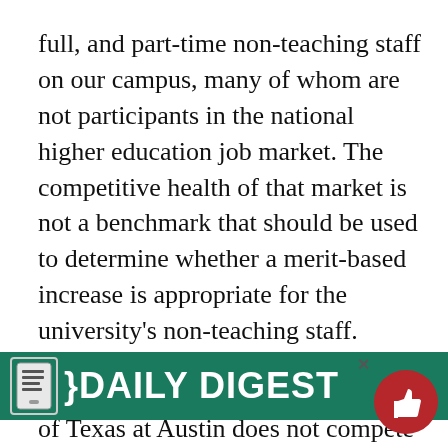full, and part-time non-teaching staff on our campus, many of whom are not participants in the national higher education job market. The competitive health of that market is not a benchmark that should be used to determine whether a merit-based increase is appropriate for the university's non-teaching staff.
Practically speaking, the University of Texas at Austin does not compete with UC Berkeley, Michigan or Harvard for custodial and maintenance staff, food service workers, administrative professionals, health care professionals or IT staff. Rather, we compete with state and local government, national companies with local offices and retail outlets, hospitals and clinics, and the broader Austin labor market including the Austin area's...
[Figure (other): Daily Digest promotional banner with teal/green background showing a phone icon and 'DAILY DIGEST' text in white bold letters, with a red thumbs-up circle button on the right and an X close button]